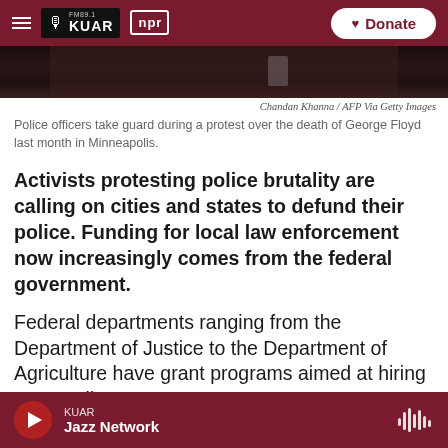FM89.1 KUAR | npr | Donate
[Figure (photo): Dark photograph showing police officers during a protest, partial view at top of page]
Chandan Khanna / AFP Via Getty Images
Police officers take guard during a protest over the death of George Floyd last month in Minneapolis.
Activists protesting police brutality are calling on cities and states to defund their police. Funding for local law enforcement now increasingly comes from the federal government.
Federal departments ranging from the Department of Justice to the Department of Agriculture have grant programs aimed at hiring more police,
KUAR Jazz Network